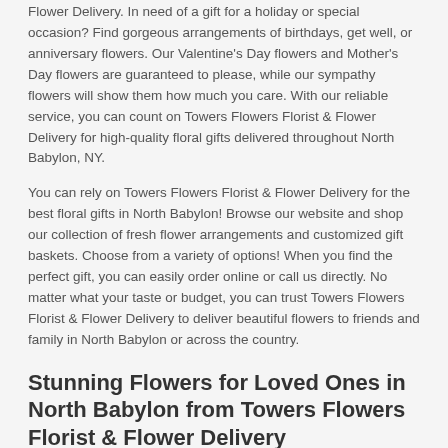Flower Delivery. In need of a gift for a holiday or special occasion? Find gorgeous arrangements of birthdays, get well, or anniversary flowers. Our Valentine's Day flowers and Mother's Day flowers are guaranteed to please, while our sympathy flowers will show them how much you care. With our reliable service, you can count on Towers Flowers Florist & Flower Delivery for high-quality floral gifts delivered throughout North Babylon, NY.
You can rely on Towers Flowers Florist & Flower Delivery for the best floral gifts in North Babylon! Browse our website and shop our collection of fresh flower arrangements and customized gift baskets. Choose from a variety of options! When you find the perfect gift, you can easily order online or call us directly. No matter what your taste or budget, you can trust Towers Flowers Florist & Flower Delivery to deliver beautiful flowers to friends and family in North Babylon or across the country.
Stunning Flowers for Loved Ones in North Babylon from Towers Flowers Florist & Flower Delivery